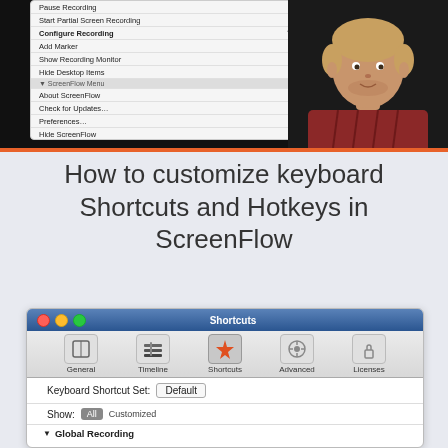[Figure (screenshot): Screenshot of ScreenFlow keyboard shortcuts context menu, showing options like Pause Recording, Start Partial Screen Recording, Configure Recording (⌃⌘6), Add Marker, Show Recording Monitor, Hide Desktop Items, ScreenFlow Menu items including About ScreenFlow, Check for Updates…, Preferences… (⌘,), Hide ScreenFlow (⌘H), with Default Shortcut: None shown at bottom. A person speaking is visible in the upper right on a dark background.]
How to customize keyboard Shortcuts and Hotkeys in ScreenFlow
[Figure (screenshot): Screenshot of ScreenFlow Shortcuts preferences window showing toolbar icons for General, Timeline, Shortcuts (active), Advanced, Licenses. Below shows 'Keyboard Shortcut Set: Default' dropdown and 'Show: All Customized' filter with Global Recording section header.]